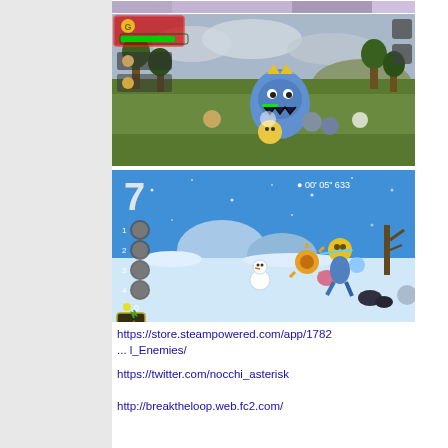[Figure (screenshot): Top portion of a game screenshot (partially visible) showing characters, cropped at top of page]
[Figure (screenshot): Game screenshot showing a colorful battle scene on a grassy field. Characters and enemies visible including a large blue monster with a crown. UI elements: red-outlined HP bar top-left with green health bar, tree-lined background, cloudy sky.]
[Figure (screenshot): Game screenshot of a winter/snowy level. Shows '7' in top-left, timer '00' 05' 633' top-right, character list on left with circular icons numbered 1-4, a character with golden head running right, snowman, winter enemies, snowy landscape. Item slot at bottom-left showing a carrot/orange item.]
https://store.steampowered.com/app/1782 ... l_Enemies/
https://twitter.com/nocchi_asterisk
http://breaktheloop.web.fc2.com/